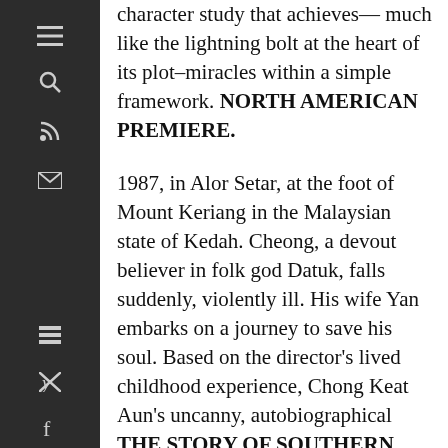character study that achieves— much like the lightning bolt at the heart of its plot– miracles within a simple framework. NORTH AMERICAN PREMIERE.
1987, in Alor Setar, at the foot of Mount Keriang in the Malaysian state of Kedah. Cheong, a devout believer in folk god Datuk, falls suddenly, violently ill. His wife Yan embarks on a journey to save his soul. Based on the director's lived childhood experience, Chong Keat Aun's uncanny, autobiographical THE STORY OF SOUTHERN ISLET is a masterful, haunting debut, taking the viewer to the limits of the rational world. Winner of the Best New Director Award at the 57th Golden Horse